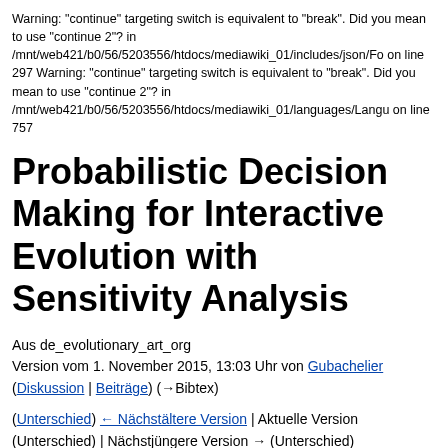Warning: "continue" targeting switch is equivalent to "break". Did you mean to use "continue 2"? in /mnt/web421/b0/56/5203556/htdocs/mediawiki_01/includes/json/For on line 297 Warning: "continue" targeting switch is equivalent to "break". Did you mean to use "continue 2"? in /mnt/web421/b0/56/5203556/htdocs/mediawiki_01/languages/Langu on line 757
Probabilistic Decision Making for Interactive Evolution with Sensitivity Analysis
Aus de_evolutionary_art_org
Version vom 1. November 2015, 13:03 Uhr von Gubachelier (Diskussion | Beiträge) (→Bibtex)
(Unterschied) ← Nächstältere Version | Aktuelle Version (Unterschied) | Nächstjüngere Version → (Unterschied)
Wechseln zu: Navigation, Suche
Inhaltsverzeichnis